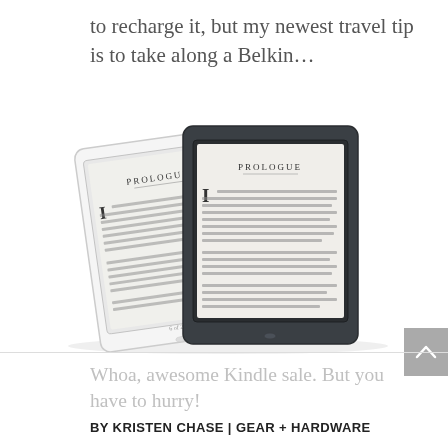to recharge it, but my newest travel tip is to take along a Belkin…
[Figure (photo): Two Amazon Kindle e-readers shown side by side — one white and one dark/black — both displaying a 'PROLOGUE' page with text content visible on their e-ink screens.]
Whoa, awesome Kindle sale. But you have to hurry!
BY KRISTEN CHASE | GEAR + HARDWARE